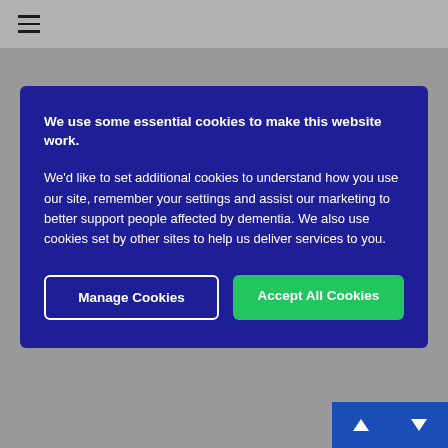≡ (hamburger menu icon)
with her working as I did it. First night away tricky but he then settled. Perhaps if you need another break, consider this? Live-in respite rather than away? And if you can find a carer who would do
Click to expand...
We use some essential cookies to make this website work.
We'd like to set additional cookies to understand how you use our site, remember your settings and assist our marketing to better support people affected by dementia. We also use cookies set by other sites to help us deliver services to you.
Manage Cookies
Accept All Cookies
Thanks for your suggestions. They are certainly worth bearing in mind, especially the female carer. I had thought a man would be ideal but that didn't work at all. I'm not sure whether there are live-in carers in our area but I'll start investigating. Onwards and upwards.